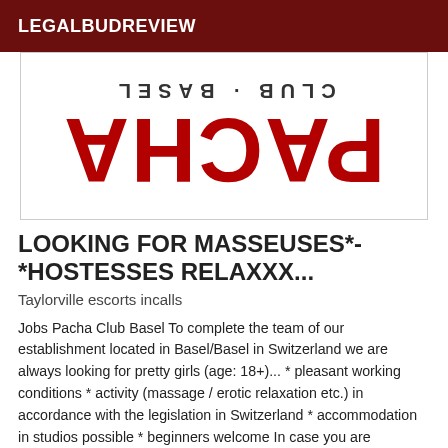LEGALBUDREVIEW
[Figure (logo): Mirror-flipped PACHA CLUB BASEL logo with large red serif text 'PACHA' and subtitle 'CLUB · BASEL' shown upside down and horizontally mirrored]
LOOKING FOR MASSEUSES*-*HOSTESSES RELAXXX...
Taylorville escorts incalls
Jobs Pacha Club Basel To complete the team of our establishment located in Basel/Basel in Switzerland we are always looking for pretty girls (age: 18+)... * pleasant working conditions * activity (massage / erotic relaxation etc.) in accordance with the legislation in Switzerland * accommodation in studios possible * beginners welcome In case you are interested and motivated, do not